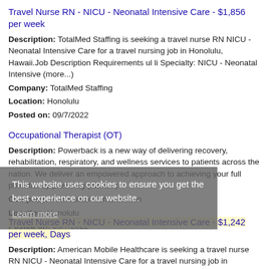Travel Nurse RN - NICU - Neonatal Intensive Care - $1,856 per week
Description: TotalMed Staffing is seeking a travel nurse RN NICU - Neonatal Intensive Care for a travel nursing job in Honolulu, Hawaii.Job Description Requirements ul li Specialty: NICU - Neonatal Intensive (more...)
Company: TotalMed Staffing
Location: Honolulu
Posted on: 09/7/2022
Occupational Therapist (OT)
Description: Powerback is a new way of delivering recovery, rehabilitation, respiratory, and wellness services to patients across the nation. We deliver an empowered approach to achieving your full potential by providing (more...)
Company: Powerback Rehabilitation
Location: Honolulu
Posted on: 09/7/2022
Travel Nurse RN - NICU - Neonatal Intensive Care - $1,242 per week, Days
Description: American Mobile Healthcare is seeking a travel nurse RN NICU - Neonatal Intensive Care for a travel nursing job in